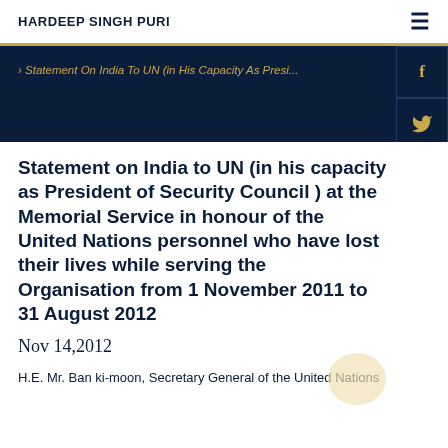HARDEEP SINGH PURI
[Figure (screenshot): Dark navy banner with breadcrumb text: Statement On India To UN (in His Capacity As Presi... in gold italic, with social media icons sidebar (Facebook, Twitter, YouTube, LinkedIn, Instagram) on the right]
Statement on India to UN (in his capacity as President of Security Council ) at the Memorial Service in honour of the United Nations personnel who have lost their lives while serving the Organisation from 1 November 2011 to 31 August 2012
Nov 14,2012
H.E. Mr. Ban ki-moon, Secretary General of the United Nations